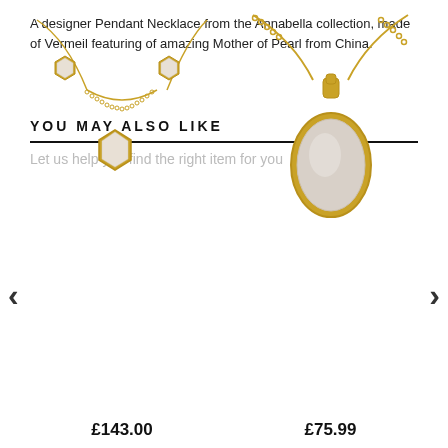A designer Pendant Necklace from the Annabella collection, made of Vermeil featuring of amazing Mother of Pearl from China.
YOU MAY ALSO LIKE
Let us help you find the right item for you
[Figure (photo): Gold hexagon station necklace with mother of pearl stones, priced at £143.00]
[Figure (photo): Gold oval pendant necklace with mother of pearl stone, priced at £75.99]
£143.00
£75.99